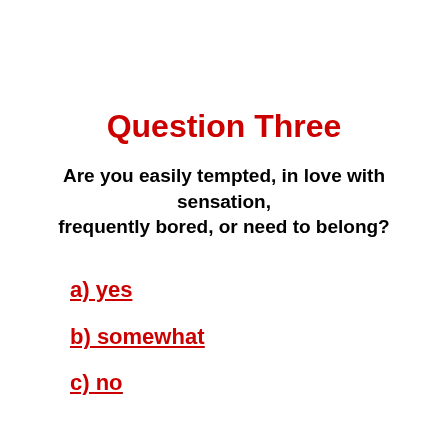Question Three
Are you easily tempted, in love with sensation, frequently bored, or need to belong?
a) yes
b) somewhat
c) no